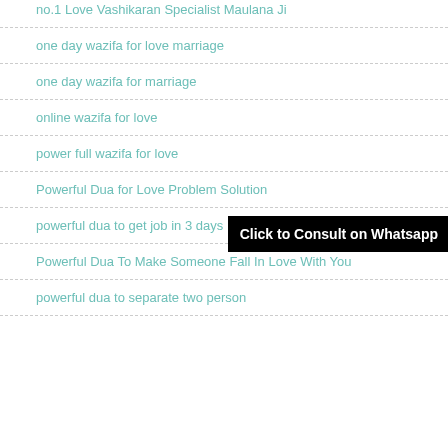no.1 Love Vashikaran Specialist Maulana Ji
one day wazifa for love marriage
one day wazifa for marriage
online wazifa for love
power full wazifa for love
[Figure (other): Black banner overlay with text 'Click to Consult on Whatsapp']
Powerful Dua for Love Problem Solution
powerful dua to get job in 3 days
Powerful Dua To Make Someone Fall In Love With You
powerful dua to separate two person